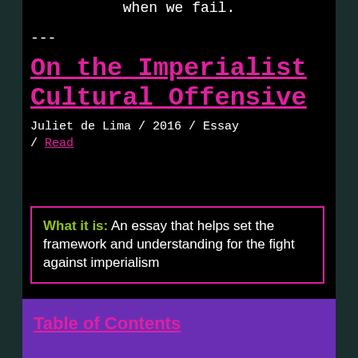when we fail.
---
On the Imperialist Cultural Offensive
Juliet de Lima / 2016 / Essay / Read
What it is: An essay that helps set the framework and understanding for the fight against imperialism
Table of Contents